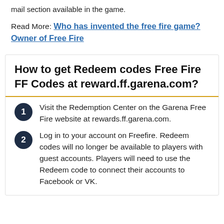mail section available in the game.
Read More: Who has invented the free fire game? Owner of Free Fire
How to get Redeem codes Free Fire FF Codes at reward.ff.garena.com?
Visit the Redemption Center on the Garena Free Fire website at rewards.ff.garena.com.
Log in to your account on Freefire. Redeem codes will no longer be available to players with guest accounts. Players will need to use the Redeem code to connect their accounts to Facebook or VK.